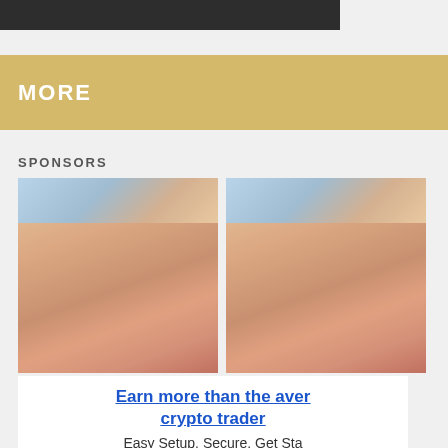[Figure (other): Dark/black top navigation bar partially visible]
MORE
SPONSORS
[Figure (photo): Sponsor advertisement image - person photo]
[Figure (photo): Sponsor advertisement image - person photo (duplicate)]
Earn more than the average crypto trader
Easy Setup. Secure. Get Started Today. Sign Up Now